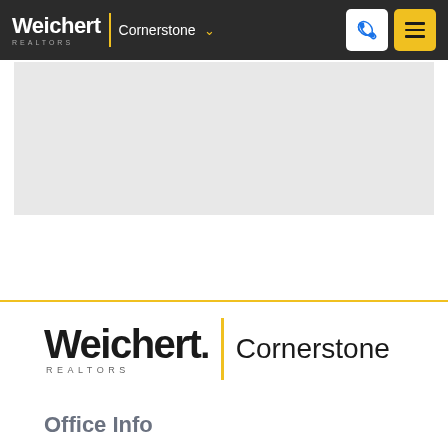Weichert REALTORS | Cornerstone
[Figure (map): Gray map placeholder area showing a blank/loading map]
[Figure (logo): Weichert Realtors Cornerstone logo — large black bold 'Weichert' with 'REALTORS' subtitle, yellow vertical bar separator, 'Cornerstone' text]
Office Info